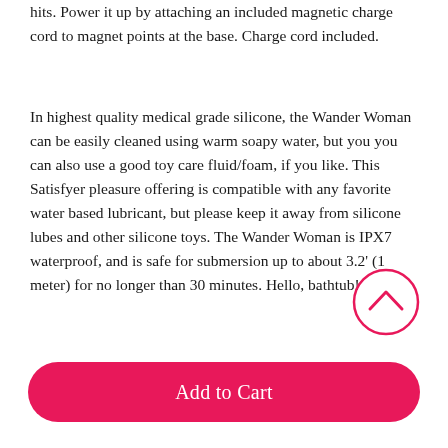hits. Power it up by attaching an included magnetic charge cord to magnet points at the base. Charge cord included.
In highest quality medical grade silicone, the Wander Woman can be easily cleaned using warm soapy water, but you you can also use a good toy care fluid/foam, if you like. This Satisfyer pleasure offering is compatible with any favorite water based lubricant, but please keep it away from silicone lubes and other silicone toys. The Wander Woman is IPX7 waterproof, and is safe for submersion up to about 3.2' (1 meter) for no longer than 30 minutes. Hello, bathtub!
[Figure (other): Pink circular scroll-to-top button with upward chevron arrow icon]
Add to Cart